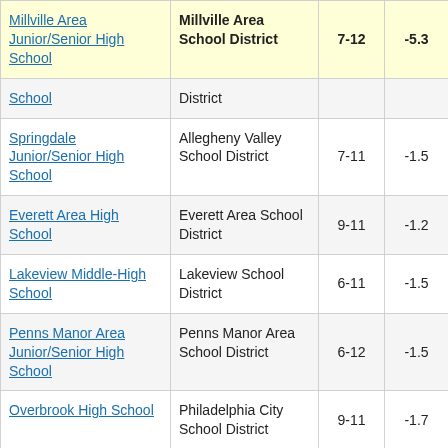| School | District | Grades | Score |  |
| --- | --- | --- | --- | --- |
| Millville Area Junior/Senior High School | Millville Area School District | 7-12 | -5.3 | 4 |
| [School] | District |  |  |  |
| Springdale Junior/Senior High School | Allegheny Valley School District | 7-11 | -1.5 |  |
| Everett Area High School | Everett Area School District | 9-11 | -1.2 |  |
| Lakeview Middle-High School | Lakeview School District | 6-11 | -1.5 |  |
| Penns Manor Area Junior/Senior High School | Penns Manor Area School District | 6-12 | -1.5 |  |
| Overbrook High School | Philadelphia City School District | 9-11 | -1.7 |  |